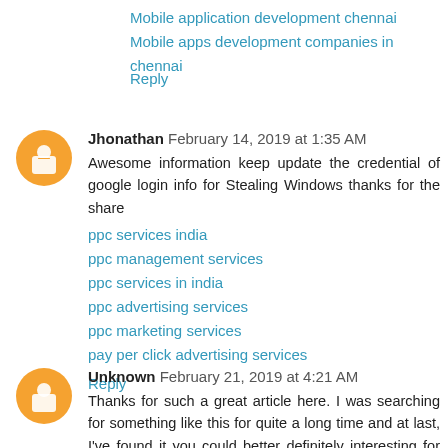Mobile application development chennai
Mobile apps development companies in chennai
Reply
Jhonathan  February 14, 2019 at 1:35 AM
Awesome information keep update the credential of google login info for Stealing Windows thanks for the share
ppc services india
ppc management services
ppc services in india
ppc advertising services
ppc marketing services
pay per click advertising services
Reply
Unknown  February 21, 2019 at 4:21 AM
Thanks for such a great article here. I was searching for something like this for quite a long time and at last, I've found it you could better definitely interesting for everyone.